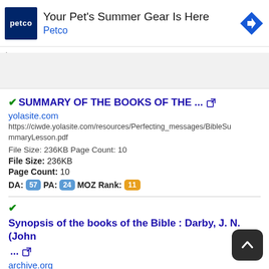[Figure (screenshot): Petco ad banner with logo, headline 'Your Pet's Summer Gear Is Here', subtext 'Petco', and a blue diamond navigation icon]
ron Results related to synopsis of the books of the
e pdf on Search Engine
✓SUMMARY OF THE BOOKS OF THE ... 🔗
yolasite.com
https://ciwde.yolasite.com/resources/Perfecting_messages/BibleSummaryLesson.pdf
File Size: 236KB Page Count: 10
File Size: 236KB
Page Count: 10
DA: 57 PA: 24 MOZ Rank: 11
✓Synopsis of the books of the Bible : Darby, J. N. (John ... 🔗
archive.org
https://archive.org/details/synopsisofbookso01darb